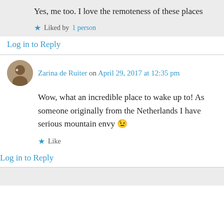Yes, me too. I love the remoteness of these places
Liked by 1 person
Log in to Reply
Zarina de Ruiter on April 29, 2017 at 12:35 pm
Wow, what an incredible place to wake up to! As someone originally from the Netherlands I have serious mountain envy 😉
Like
Log in to Reply